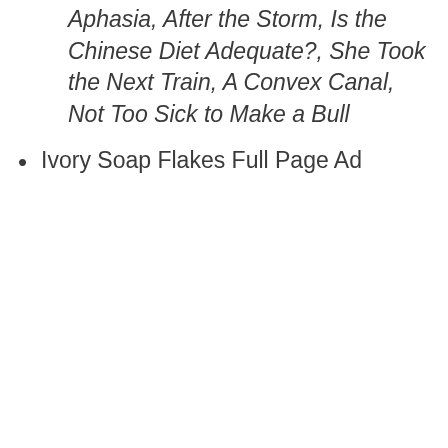Aphasia, After the Storm, Is the Chinese Diet Adequate?, She Took the Next Train, A Convex Canal, Not Too Sick to Make a Bull
Ivory Soap Flakes Full Page Ad